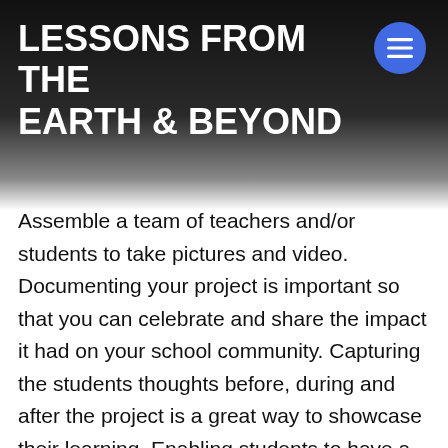LESSONS FROM THE EARTH & BEYOND
Assemble a team of teachers and/or students to take pictures and video. Documenting your project is important so that you can celebrate and share the impact it had on your school community. Capturing the students thoughts before, during and after the project is a great way to showcase their learning.  Enabling students to have a voice is a powerful way to engage them in the process and it will inspire them to become active in creating change.
Embrace technology! This is another great